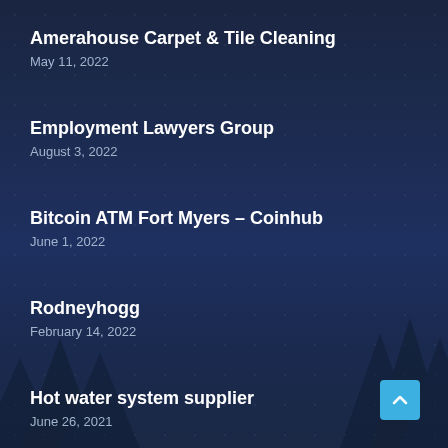Amerahouse Carpet & Tile Cleaning
May 11, 2022
Employment Lawyers Group
August 3, 2022
Bitcoin ATM Fort Myers – Coinhub
June 1, 2022
Rodneyhogg
February 14, 2022
Hot water system supplier
June 26, 2021